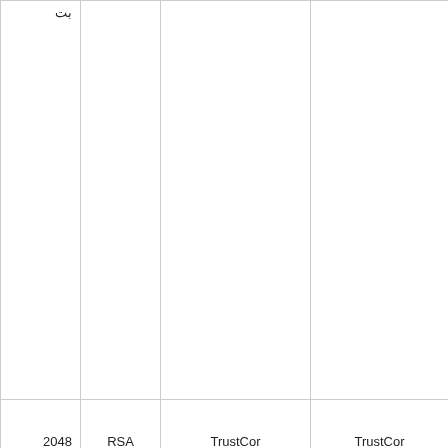| بت |  |  |  |
| 2048 | RSA | TrustCor | TrustCor |